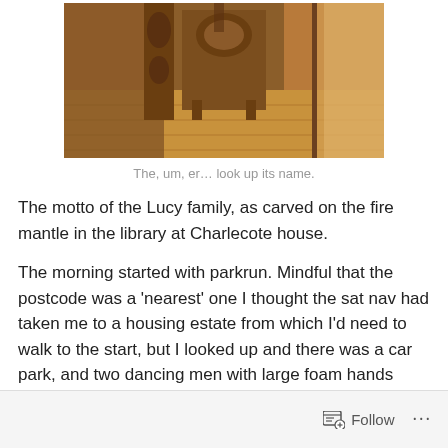[Figure (photo): Interior of Charlecote house showing a hallway with ornate carved wooden furniture and a wooden floor, photographed from inside looking toward a door.]
The, um, er… look up its name.
The motto of the Lucy family, as carved on the fire mantle in the library at Charlecote house.
The morning started with parkrun. Mindful that the postcode was a 'nearest' one I thought the sat nav had taken me to a housing estate from which I'd need to walk to the start, but I looked up and there was a car park, and two dancing men with large foam hands waving me in. I'd not spotted signs to Sandy Lane, as the instructions had promised, but here I was, Congleton parkrun.
Follow ...